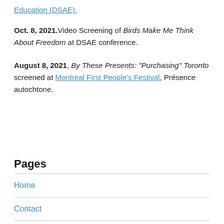Education (DSAE).
Oct. 8, 2021. Video Screening of Birds Make Me Think About Freedom at DSAE conference.
August 8, 2021, By These Presents: "Purchasing" Toronto screened at Montreal First People's Festival, Présence autochtone.
Pages
Home
Contact